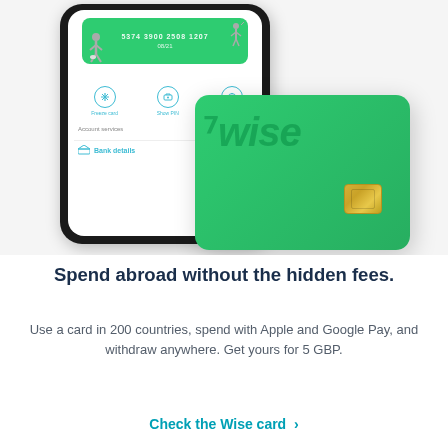[Figure (illustration): A smartphone displaying the Wise app interface with a green card section showing a card number, icons for Freeze card, Show PIN, Manage card, Account services label, and Bank details row. In front of the phone, a large green Wise debit card with the Wise logo and a chip is shown overlapping the phone.]
Spend abroad without the hidden fees.
Use a card in 200 countries, spend with Apple and Google Pay, and withdraw anywhere. Get yours for 5 GBP.
Check the Wise card ›